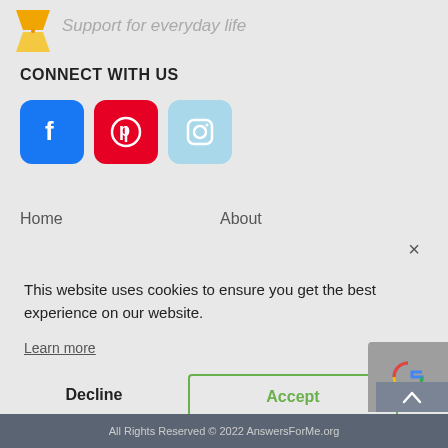[Figure (logo): Hourglass logo icon with orange/yellow top half]
Support for everyday life
CONNECT WITH US
[Figure (infographic): Three social media icon buttons: Facebook (blue), Pinterest (red), Instagram (light blue)]
Home
About
×
This website uses cookies to ensure you get the best experience on our website.
Learn more
Decline
Accept
[Figure (other): reCAPTCHA badge with Google logo and privacy/terms links]
All Rights Reserved © 2022 AnswersForMe.org